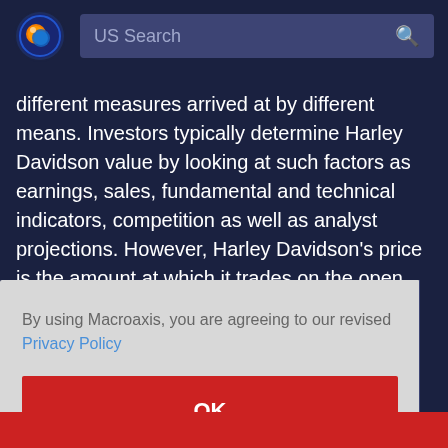[Figure (logo): Macroaxis logo - orange and blue globe icon]
US Search
different measures arrived at by different means. Investors typically determine Harley Davidson value by looking at such factors as earnings, sales, fundamental and technical indicators, competition as well as analyst projections. However, Harley Davidson's price is the amount at which it trades on the open market, whereas the number that
By using Macroaxis, you are agreeing to our revised Privacy Policy
OK